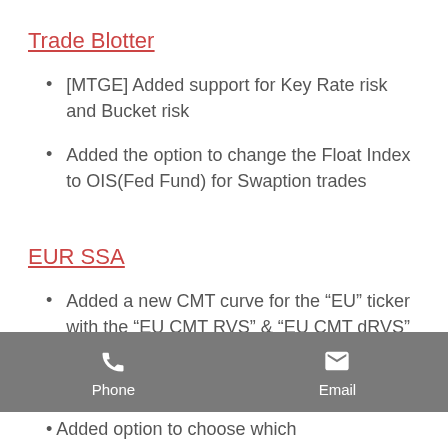Trade Blotter
[MTGE] Added support for Key Rate risk and Bucket risk
Added the option to change the Float Index to OIS(Fed Fund) for Swaption trades
EUR SSA
Added a new CMT curve for the “EU” ticker with the “EU CMT RVS” & “EU CMT dRVS” columns
[Figure (other): Footer bar with Phone and Email contact buttons (icons + labels) on a grey background]
Added option to choose which